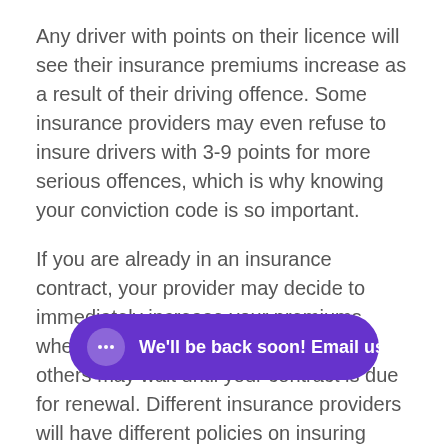Any driver with points on their licence will see their insurance premiums increase as a result of their driving offence. Some insurance providers may even refuse to insure drivers with 3-9 points for more serious offences, which is why knowing your conviction code is so important.
If you are already in an insurance contract, your provider may decide to immediately increase your premiums when you receive penalty points, while others may wait until your contract is due for renewal. Different insurance providers will have different policies on insuring drivers with 3-9 points, and some providers will specialise in insuring those with penalty
If you commit a speeding driving offence,
[Figure (other): Purple chat button overlay with icon and text 'We'll be back soon! Email us']